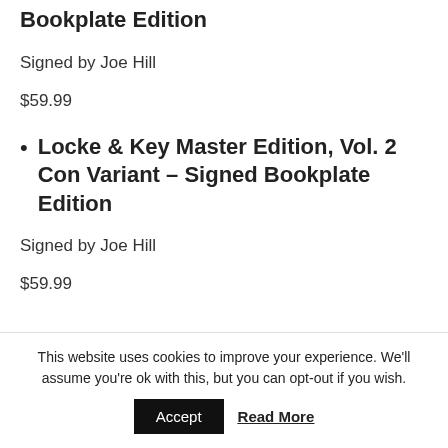Bookplate Edition
Signed by Joe Hill
$59.99
Locke & Key Master Edition, Vol. 2 Con Variant – Signed Bookplate Edition
Signed by Joe Hill
$59.99
This website uses cookies to improve your experience. We'll assume you're ok with this, but you can opt-out if you wish.
Accept    Read More